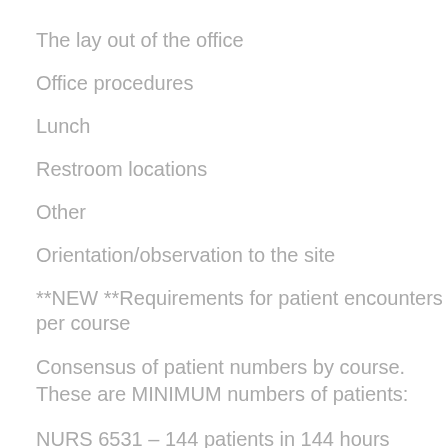The lay out of the office
Office procedures
Lunch
Restroom locations
Other
Orientation/observation to the site
**NEW **Requirements for patient encounters per course
Consensus of patient numbers by course. These are MINIMUM numbers of patients:
NURS 6531 – 144 patients in 144 hours
NURS 6540 – 100 patients in 144 h...